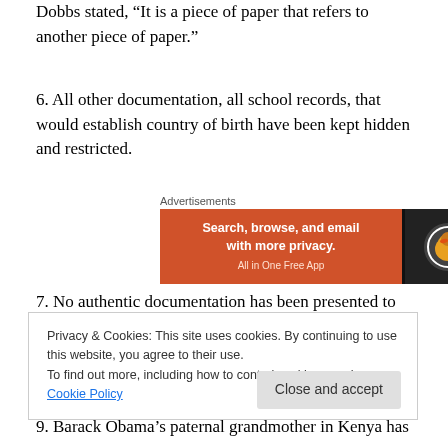Dobbs stated, “It is a piece of paper that refers to another piece of paper.”
6. All other documentation, all school records, that would establish country of birth have been kept hidden and restricted.
[Figure (other): DuckDuckGo advertisement banner: orange background with text 'Search, browse, and email with more privacy.' and DuckDuckGo logo on dark background]
7. No authentic documentation has been presented to establish that Barack Obama was born in the US.
Privacy & Cookies: This site uses cookies. By continuing to use this website, you agree to their use. To find out more, including how to control cookies, see here: Cookie Policy
9. Barack Obama’s paternal grandmother in Kenya has